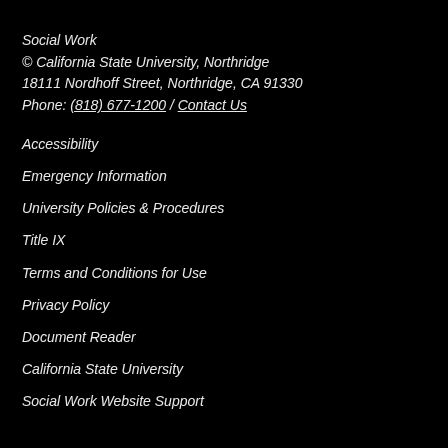Social Work
© California State University, Northridge
18111 Nordhoff Street, Northridge, CA 91330
Phone: (818) 677-1200 / Contact Us
Accessibility
Emergency Information
University Policies & Procedures
Title IX
Terms and Conditions for Use
Privacy Policy
Document Reader
California State University
Social Work Website Support